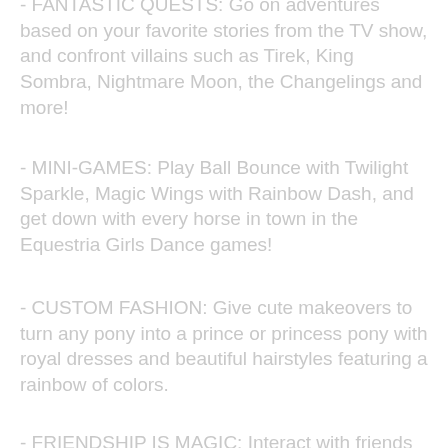- FANTASTIC QUESTS: Go on adventures based on your favorite stories from the TV show, and confront villains such as Tirek, King Sombra, Nightmare Moon, the Changelings and more!
- MINI-GAMES: Play Ball Bounce with Twilight Sparkle, Magic Wings with Rainbow Dash, and get down with every horse in town in the Equestria Girls Dance games!
- CUSTOM FASHION: Give cute makeovers to turn any pony into a prince or princess pony with royal dresses and beautiful hairstyles featuring a rainbow of colors.
- FRIENDSHIP IS MAGIC: Interact with friends and compete in hoof-pounding